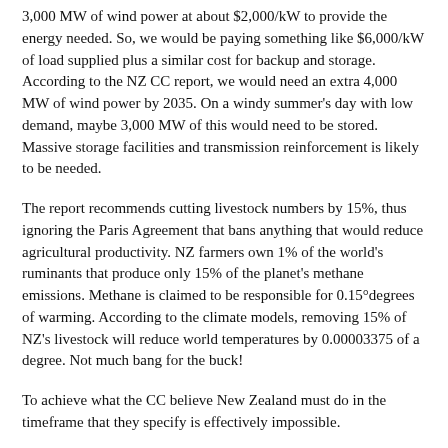3,000 MW of wind power at about $2,000/kW to provide the energy needed. So, we would be paying something like $6,000/kW of load supplied plus a similar cost for backup and storage. According to the NZ CC report, we would need an extra 4,000 MW of wind power by 2035. On a windy summer's day with low demand, maybe 3,000 MW of this would need to be stored. Massive storage facilities and transmission reinforcement is likely to be needed.
The report recommends cutting livestock numbers by 15%, thus ignoring the Paris Agreement that bans anything that would reduce agricultural productivity. NZ farmers own 1% of the world's ruminants that produce only 15% of the planet's methane emissions. Methane is claimed to be responsible for 0.15°degrees of warming. According to the climate models, removing 15% of NZ's livestock will reduce world temperatures by 0.00003375 of a degree. Not much bang for the buck!
To achieve what the CC believe New Zealand must do in the timeframe that they specify is effectively impossible.
Massive changes to the RMA would be needed. Laws will need to